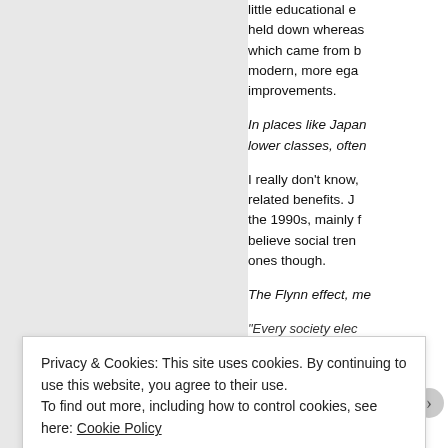little educational evidence held down whereas which came from b modern, more ega improvements.
In places like Japan lower classes, often
I really don't know, related benefits. J the 1990s, mainly f believe social tren ones though.
The Flynn effect, me
"Every society elec
Privacy & Cookies: This site uses cookies. By continuing to use this website, you agree to their use.
To find out more, including how to control cookies, see here: Cookie Policy
Close and accept